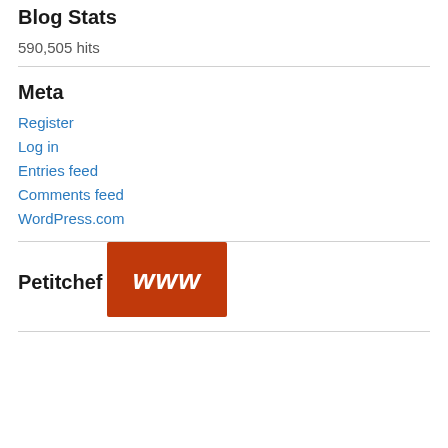Blog Stats
590,505 hits
Meta
Register
Log in
Entries feed
Comments feed
WordPress.com
Petitchef
[Figure (logo): Red rectangle button with white bold italic 'www' text, representing the Petitchef website logo/link]